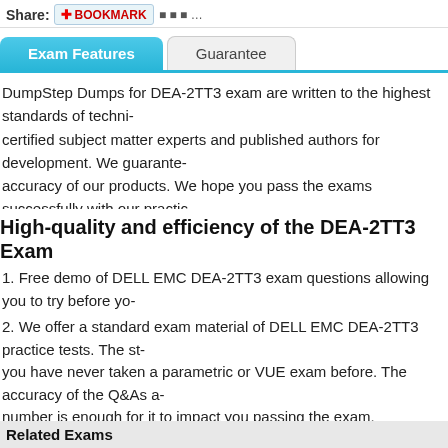Share: BOOKMARK ...
Exam Features | Guarantee
DumpStep Dumps for DEA-2TT3 exam are written to the highest standards of techni... certified subject matter experts and published authors for development. We guarante... accuracy of our products. We hope you pass the exams successfully with our practic... DEA-2TT3 Practice Exams , you will pass your exam easily at the first attempt. You d... update for your product.
High-quality and efficiency of the DEA-2TT3 Exam
1. Free demo of DELL EMC DEA-2TT3 exam questions allowing you to try before yo...
2. We offer a standard exam material of DELL EMC DEA-2TT3 practice tests. The st... you have never taken a parametric or VUE exam before. The accuracy of the Q&As a... number is enough for it to impact you passing the exam.
3. DumpStep includes 365 days of free updates. This is important if you are taking a...
Related Exams